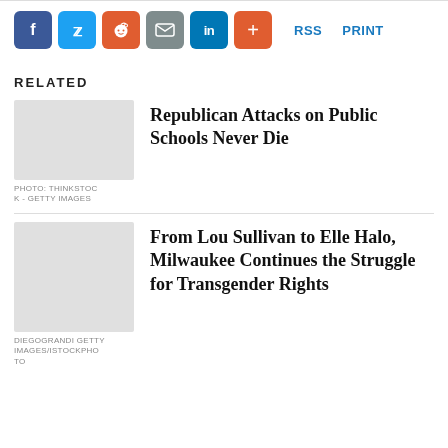[Figure (infographic): Social share buttons: Facebook (blue), Twitter (light blue), Reddit (orange), Email (gray), LinkedIn (dark blue), Plus (orange-red), followed by RSS and PRINT links in blue]
RELATED
Republican Attacks on Public Schools Never Die
PHOTO: THINKSTOCK - GETTY IMAGES
From Lou Sullivan to Elle Halo, Milwaukee Continues the Struggle for Transgender Rights
DIEGOGRANDI GETTY IMAGES/ISTOCKPHOTO